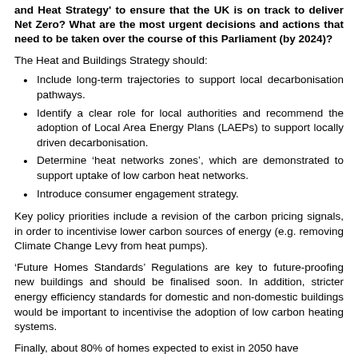and Heat Strategy' to ensure that the UK is on track to deliver Net Zero? What are the most urgent decisions and actions that need to be taken over the course of this Parliament (by 2024)?
The Heat and Buildings Strategy should:
Include long-term trajectories to support local decarbonisation pathways.
Identify a clear role for local authorities and recommend the adoption of Local Area Energy Plans (LAEPs) to support locally driven decarbonisation.
Determine ‘heat networks zones’, which are demonstrated to support uptake of low carbon heat networks.
Introduce consumer engagement strategy.
Key policy priorities include a revision of the carbon pricing signals, in order to incentivise lower carbon sources of energy (e.g. removing Climate Change Levy from heat pumps).
'Future Homes Standards' Regulations are key to future-proofing new buildings and should be finalised soon. In addition, stricter energy efficiency standards for domestic and non-domestic buildings would be important to incentivise the adoption of low carbon heating systems.
Finally, about 80% of homes expected to exist in 2050 have